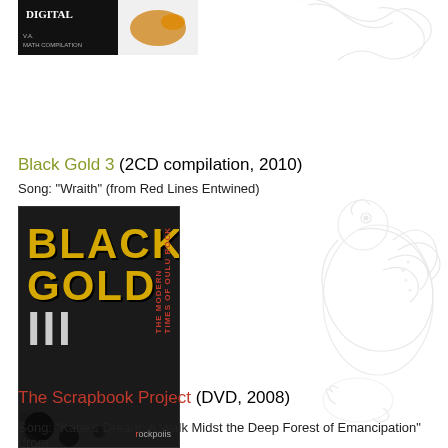[Figure (photo): Top small album/compilation cover image with digital branding and VA Math Compilation text]
[Figure (illustration): Background decorative line illustration of bird/creature on right side of page]
Black Gold 3 (2CD compilation, 2010)
Song: "Wraith" (from Red Lines Entwined)
[Figure (photo): Album cover for Black Gold III - The Modern Times of Oulu Rock, dark background with yellow/gold text BLACK GOLD and white roman numerals III, published by Rockpolis]
The Scrapbook Project (DVD, 2008)
Song: "Katie's Dream: A Walk Midst the Deep Forest of Emancipation" (from